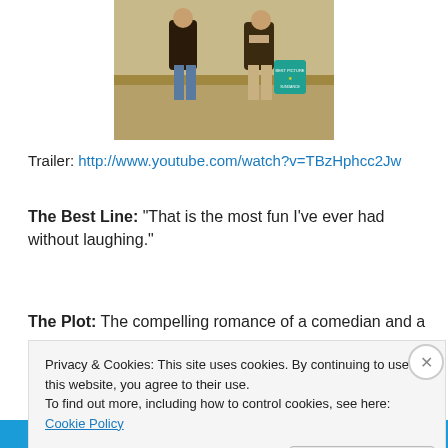[Figure (photo): Movie poster image showing two people standing in a field, viewed from behind. An award badge is visible on the right side.]
Trailer: http://www.youtube.com/watch?v=TBzHphcc2Jw
The Best Line: “That is the most fun I’ve ever had without laughing.”
The Plot: The compelling romance of a comedian and a
Privacy & Cookies: This site uses cookies. By continuing to use this website, you agree to their use.
To find out more, including how to control cookies, see here: Cookie Policy
Close and accept